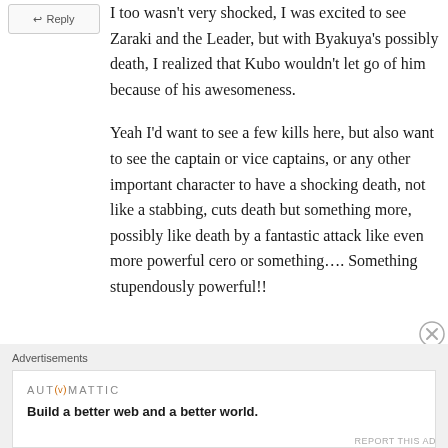Reply
I too wasn't very shocked, I was excited to see Zaraki and the Leader, but with Byakuya's possibly death, I realized that Kubo wouldn't let go of him because of his awesomeness.

Yeah I'd want to see a few kills here, but also want to see the captain or vice captains, or any other important character to have a shocking death, not like a stabbing, cuts death but something more, possibly like death by a fantastic attack like even more powerful cero or something…. Something stupendously powerful!!
Advertisements
[Figure (other): Automattic advertisement banner: 'Build a better web and a better world.']